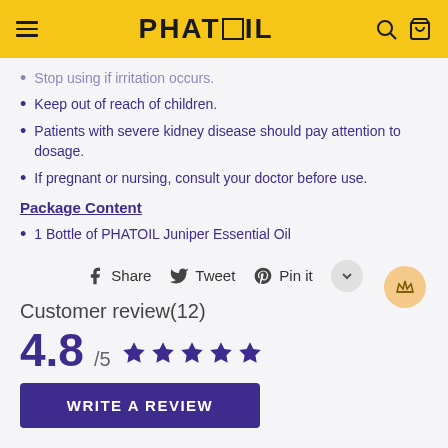PHATOIL
Stop using if irritation occurs.
Keep out of reach of children.
Patients with severe kidney disease should pay attention to dosage.
If pregnant or nursing, consult your doctor before use.
Package Content
1 Bottle of PHATOIL Juniper Essential Oil
Share  Tweet  Pin it
Customer review(12)
4.8 /5 ★★★★★
WRITE A REVIEW